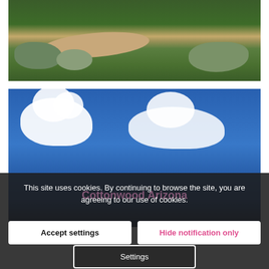[Figure (photo): Aerial or ground-level view of a golf course with green fairway, sandy bunker, and desert shrubs/vegetation in the background.]
[Figure (photo): Blue sky with white cumulus clouds, with a faint 'Cottonwood Arizona' watermark overlay and cookie consent notification overlay at bottom.]
This site uses cookies. By continuing to browse the site, you are agreeing to our use of cookies.
Accept settings
Hide notification only
Settings